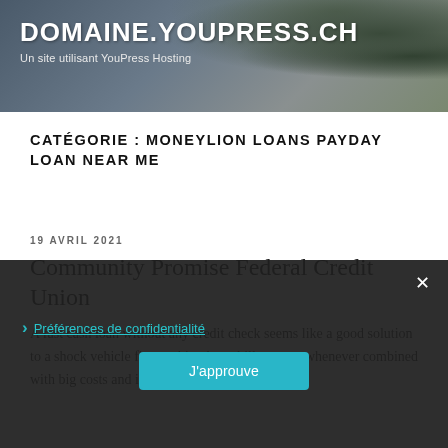DOMAINE.YOUPRESS.CH
Un site utilisant YouPress Hosting
CATÉGORIE : MONEYLION LOANS PAYDAY LOAN NEAR ME
19 AVRIL 2021
Community Promise Federal Credit Union
A fast cash loan without any credit check seems like a good solution to a shock vehicle fix or a big phone bill, yet not whenever combined with big costs and interest levels of 300%
Préférences de confidentialité
J'approuve